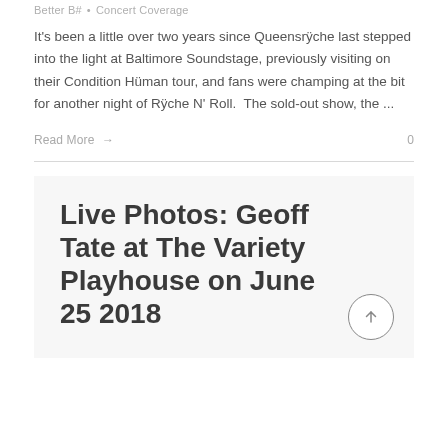Better B# · Concert Coverage
It's been a little over two years since Queensrÿche last stepped into the light at Baltimore Soundstage, previously visiting on their Condition Hüman tour, and fans were champing at the bit for another night of Rÿche N' Roll.  The sold-out show, the ...
Read More → 0
Live Photos: Geoff Tate at The Variety Playhouse on June 25 2018